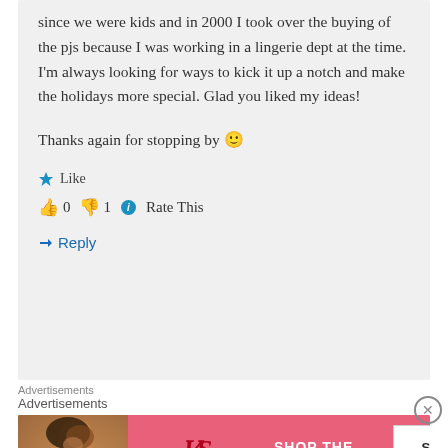since we were kids and in 2000 I took over the buying of the pjs because I was working in a lingerie dept at the time. I'm always looking for ways to kick it up a notch and make the holidays more special. Glad you liked my ideas!
Thanks again for stopping by 🙂
Like
👍 0 👎 1 ℹ Rate This
Reply
Advertisements
[Figure (photo): Victoria's Secret advertisement banner with a woman's photo on the left, VS logo in center, and 'SHOP THE COLLECTION / SHOP NOW' button on right, pink background]